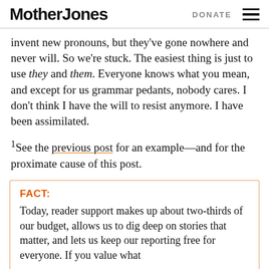Mother Jones | DONATE
invent new pronouns, but they've gone nowhere and never will. So we're stuck. The easiest thing is just to use they and them. Everyone knows what you mean, and except for us grammar pedants, nobody cares. I don't think I have the will to resist anymore. I have been assimilated.
¹See the previous post for an example—and for the proximate cause of this post.
FACT:
Today, reader support makes up about two-thirds of our budget, allows us to dig deep on stories that matter, and lets us keep our reporting free for everyone. If you value what